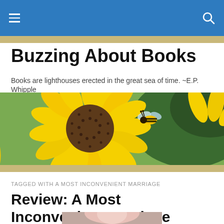Buzzing About Books — navigation bar
Buzzing About Books
Books are lighthouses erected in the great sea of time. ~E.P. Whipple
[Figure (photo): Close-up photo of a sunflower with a bumblebee on it against a blurred green background]
TAGGED WITH A MOST INCONVENIENT MARRIAGE
Review: A Most Inconvenient Marriage
[Figure (photo): Partial view of a book cover — a woman's face visible at bottom of page]